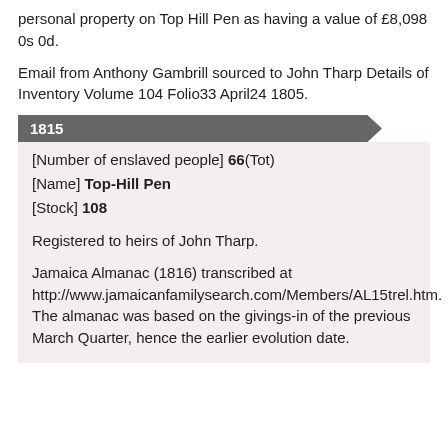personal property on Top Hill Pen as having a value of £8,098 0s 0d.
Email from Anthony Gambrill sourced to John Tharp Details of Inventory Volume 104 Folio33 April24 1805.
1815
[Number of enslaved people] 66(Tot)
[Name] Top-Hill Pen
[Stock] 108
Registered to heirs of John Tharp.
Jamaica Almanac (1816) transcribed at http://www.jamaicanfamilysearch.com/Members/AL15trel.htm. The almanac was based on the givings-in of the previous March Quarter, hence the earlier evolution date.